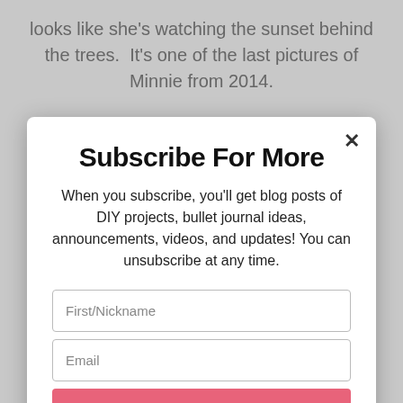looks like she's watching the sunset behind the trees. It's one of the last pictures of Minnie from 2014.
Subscribe For More
When you subscribe, you'll get blog posts of DIY projects, bullet journal ideas, announcements, videos, and updates! You can unsubscribe at any time.
First/Nickname
Email
Subscribe
I was thinking of putting them in two different